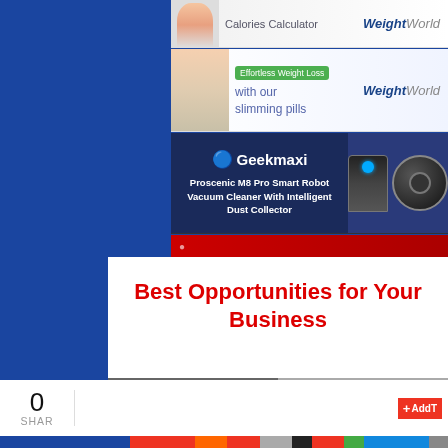[Figure (screenshot): WeightWorld Calories Calculator advertisement banner with person image and WeightWorld logo]
[Figure (screenshot): WeightWorld Effortless Weight Loss slimming pills advertisement with woman image and green badge]
[Figure (screenshot): Geekmaxi advertisement for Proscenic M8 Pro Smart Robot Vacuum Cleaner With Intelligent Dust Collector]
[Figure (screenshot): Partial advertisement banner cut off at bottom, red background]
Best Opportunities for Your Business
Yes please!
No, thanks!
0
SHAR
[Figure (logo): AddThis share button logo in red with + icon and AddT text visible]